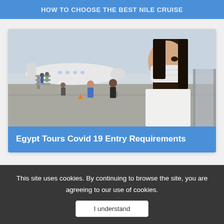HOW TO CHOOSE THE BEST NILE CRUISE
[Figure (photo): Travelers with luggage boarding an airplane on a tarmac, with a woman in a white shirt wearing a face mask looking back at the camera]
Egypt Tours Covid 19 Entry Requirements
This site uses cookies. By continuing to browse the site, you are agreeing to our use of cookies.
I understand